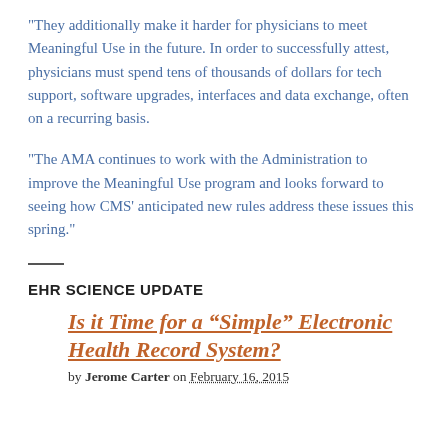"They additionally make it harder for physicians to meet Meaningful Use in the future. In order to successfully attest, physicians must spend tens of thousands of dollars for tech support, software upgrades, interfaces and data exchange, often on a recurring basis.
"The AMA continues to work with the Administration to improve the Meaningful Use program and looks forward to seeing how CMS' anticipated new rules address these issues this spring."
EHR SCIENCE UPDATE
Is it Time for a “Simple” Electronic Health Record System?
by Jerome Carter on February 16, 2015